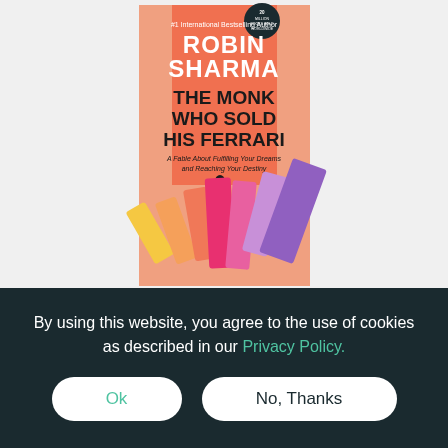[Figure (illustration): Book cover of 'The Monk Who Sold His Ferrari' by Robin Sharma. Orange/salmon background in the center panel with white text reading '#1 International Bestselling Author', 'ROBIN SHARMA', 'THE MONK WHO SOLD HIS FERRARI', subtitle 'A Fable About Fulfilling Your Dreams and Reaching Your Destiny'. Dark circular badge top right. Bottom half shows colorful falling dominoes (yellow, orange, pink, coral, purple, lavender) with a small silhouette figure standing among them.]
By using this website, you agree to the use of cookies as described in our Privacy Policy.